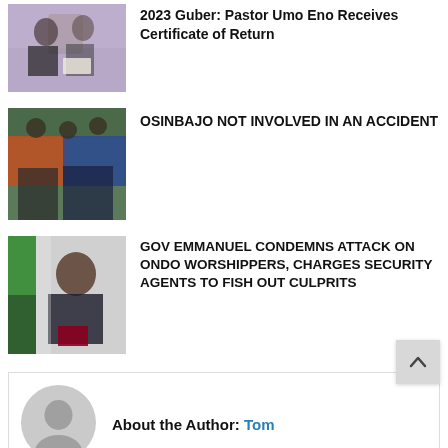2023 Guber: Pastor Umo Eno Receives Certificate of Return
[Figure (photo): Two people, one holding a certificate, in an indoor setting]
OSINBAJO NOT INVOLVED IN AN ACCIDENT
[Figure (photo): Crowd of men in a group, outdoors, some in blue suits]
GOV EMMANUEL CONDEMNS ATTACK ON ONDO WORSHIPPERS, CHARGES SECURITY AGENTS TO FISH OUT CULPRITS
[Figure (photo): Man in suit with Nigerian flag in the background]
About the Author: Tom
[Figure (illustration): Generic user avatar placeholder circle icon]
Leave a Reply